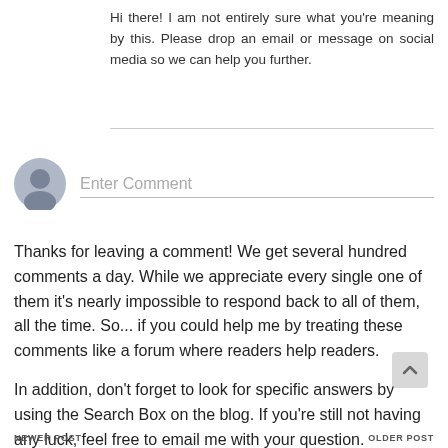Hi there! I am not entirely sure what you're meaning by this. Please drop an email or message on social media so we can help you further.
[Figure (illustration): User avatar placeholder circle with a generic person silhouette icon, gray colored]
Enter Comment
Thanks for leaving a comment! We get several hundred comments a day. While we appreciate every single one of them it's nearly impossible to respond back to all of them, all the time. So... if you could help me by treating these comments like a forum where readers help readers.
In addition, don't forget to look for specific answers by using the Search Box on the blog. If you're still not having any luck, feel free to email me with your question.
NEWER POST                                                           OLDER POST